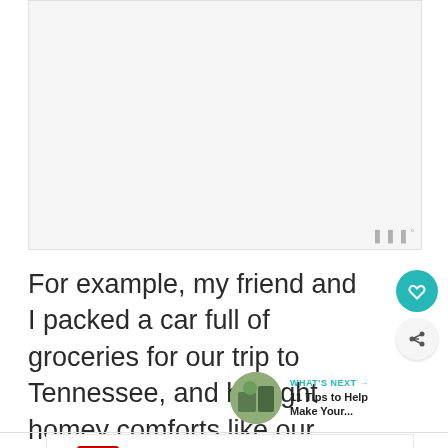[Figure (photo): Large image area, mostly blank/light gray, representing a photo placeholder]
For example, my friend and I packed a car full of groceries for our trip to Tennessee, and brought homey comforts like our own pillows and stash of candles.
WHAT'S NEXT → 11 Tips to Help Make Your...
[Figure (other): CVS Pharmacy advertisement banner showing In-store shopping, Drive-through, and Delivery options with CVS logo and navigation icon]